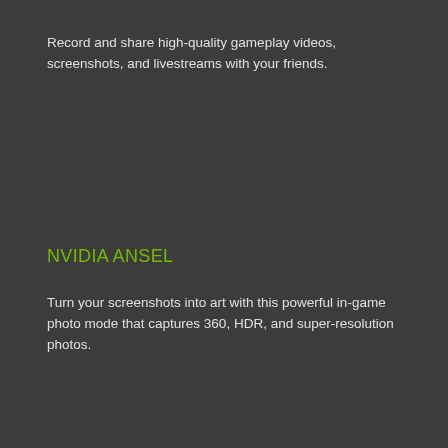Record and share high-quality gameplay videos, screenshots, and livestreams with your friends.
NVIDIA ANSEL
Turn your screenshots into art with this powerful in-game photo mode that captures 360, HDR, and super-resolution photos.